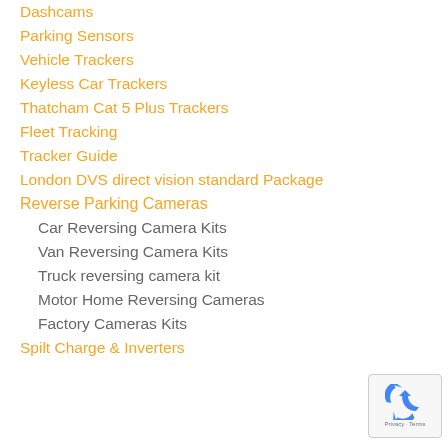Dashcams
Parking Sensors
Vehicle Trackers
Keyless Car Trackers
Thatcham Cat 5 Plus Trackers
Fleet Tracking
Tracker Guide
London DVS direct vision standard Package
Reverse Parking Cameras
Car Reversing Camera Kits
Van Reversing Camera Kits
Truck reversing camera kit
Motor Home Reversing Cameras
Factory Cameras Kits
Spilt Charge & Inverters
[Figure (logo): reCAPTCHA badge with recycling arrows icon and Privacy - Terms text]